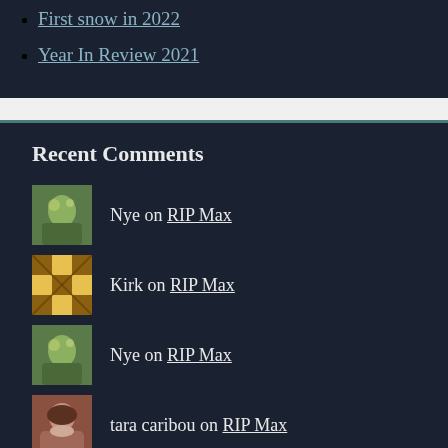First snow in 2022
Year In Review 2021
Recent Comments
Nye on RIP Max
Kirk on RIP Max
Nye on RIP Max
tara caribou on RIP Max
seeharhed on First Cucumbers Harvest